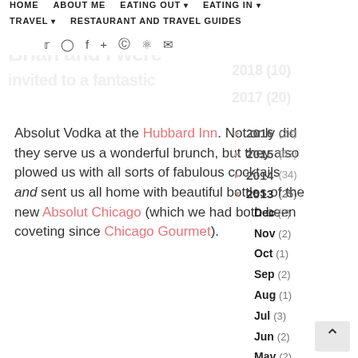HOME  ABOUT ME  EATING OUT ▾  EATING IN ▾  TRAVEL ▾  RESTAURANT AND TRAVEL GUIDES
Absolut Vodka at the Hubbard Inn. Not only did they serve us a wonderful brunch, but they also plowed us with all sorts of fabulous cocktails and sent us all home with beautiful bottles of the new Absolut Chicago (which we had both been coveting since Chicago Gourmet).
2016 (24)
2015 (63)
2014 (34)
2013 (25)
Dec (2)
Nov (2)
Oct (1)
Sep (2)
Aug (1)
Jul (3)
Jun (2)
May (2)
Apr (3)